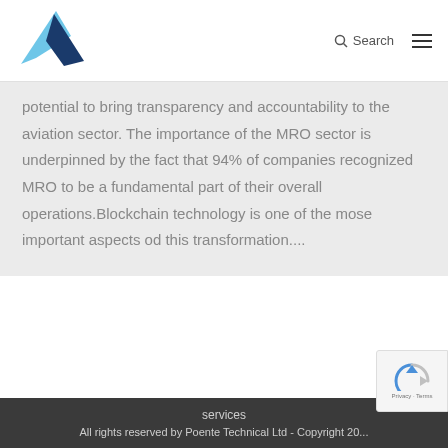[Figure (logo): Aviation company logo with blue arrow/wing shapes pointing left]
potential to bring transparency and accountability to the aviation sector. The importance of the MRO sector is underpinned by the fact that 94% of companies recognized MRO to be a fundamental part of their overall operations.Blockchain technology is one of the mose important aspects od this transformation....
services
All rights reserved by Poente Technical Ltd - Copyright 20...